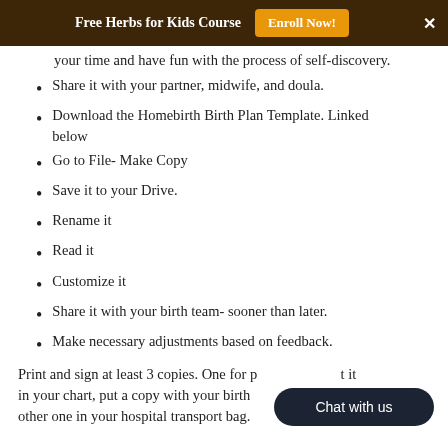Free Herbs for Kids Course  Enroll Now!  ×
your time and have fun with the process of self-discovery.
Share it with your partner, midwife, and doula.
Download the Homebirth Birth Plan Template. Linked below
Go to File- Make Copy
Save it to your Drive.
Rename it
Read it
Customize it
Share it with your birth team- sooner than later.
Make necessary adjustments based on feedback.
Print and sign at least 3 copies. One for … it in your chart, put a copy with your birth … other one in your hospital transport bag.